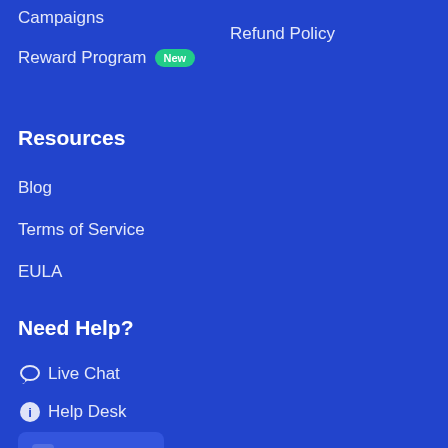Campaigns
Reward Program New
Refund Policy
Resources
Blog
Terms of Service
EULA
Need Help?
Live Chat
Help Desk
Contact Us